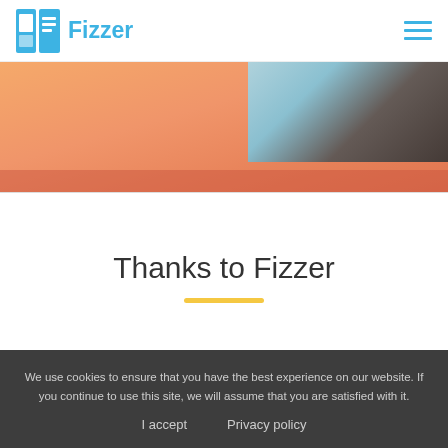Fizzer
[Figure (photo): Partial view of a Fizzer postcard product image with orange/peach background and a photo inset in the upper right portion]
Thanks to Fizzer
We use cookies to ensure that you have the best experience on our website. If you continue to use this site, we will assume that you are satisfied with it.
I accept    Privacy policy